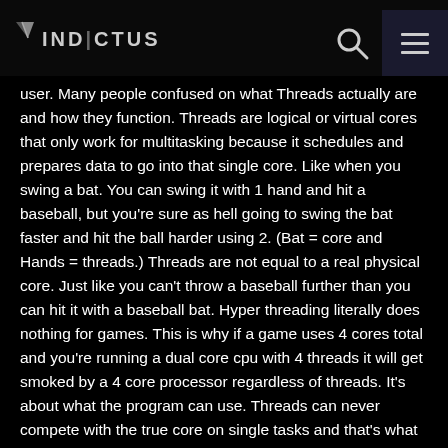Vindictus
user. Many people confused on what Threads actually are and how they function. Threads are logical or virtual cores that only work for multitasking because it schedules and prepares data to go into that single core. Like when you swing a bat. You can swing it with 1 hand and hit a baseball, but you're sure as hell going to swing the bat faster and hit the ball harder using 2. (Bat = core and Hands = threads.) Threads are not equal to a real physical core. Just like you can't throw a baseball further than you can hit it with a baseball bat. Hyper threading literally does nothing for games. This is why if a game uses 4 cores total and you're running a dual core cpu with 4 threads it will get smoked by a 4 core processor regardless of threads. It's about what the program can use. Threads can never compete with the true core on single tasks and that's what games are. Games are not easy to design to split the work load up across multiple cores as it is because of the way games work. Games work in a specific order or in response to the gamer, so it makes it much, much harder to split the work load up. More cores and threading only make things faster because it can basically split up problems that don't have to be done in a specific order, for example say you want to find out what 1+2+3 is. Well. Simple you add all of them right? But